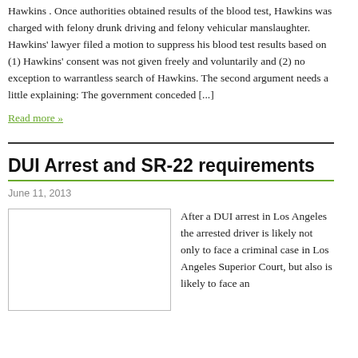Hawkins .   Once authorities obtained results of the blood test, Hawkins was charged with felony drunk driving and felony vehicular manslaughter.  Hawkins' lawyer filed a motion to suppress his blood test results based on (1) Hawkins' consent was not given freely and voluntarily and (2) no exception to warrantless search of Hawkins.   The second argument needs a little explaining: The government conceded [...]
Read more »
DUI Arrest and SR-22 requirements
June 11, 2013
[Figure (photo): Blank white image placeholder with a border, likely a photo related to DUI arrest article]
After a DUI arrest in Los Angeles the arrested driver is likely not only to face a criminal case in Los Angeles Superior Court, but also is likely to face an